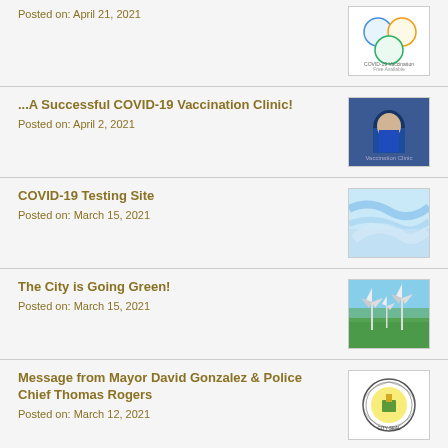Posted on: April 21, 2021
[Figure (illustration): Colorful COVID-19 vaccination awareness graphic with icons]
...A Successful COVID-19 Vaccination Clinic!
Posted on: April 2, 2021
[Figure (photo): Person in blue shirt wearing mask at vaccination clinic]
COVID-19 Testing Site
Posted on: March 15, 2021
[Figure (photo): Blue surgical gloves close-up photo]
The City is Going Green!
Posted on: March 15, 2021
[Figure (photo): Wind turbines in green field with blue sky]
Message from Mayor David Gonzalez & Police Chief Thomas Rogers
Posted on: March 12, 2021
[Figure (logo): City official seal/logo circular badge]
Cook County COVID-19 Recovery Emergency Rental Assistance
[Figure (illustration): Cook County COVID-19 Recovery graphic with dollar sign and calculator]